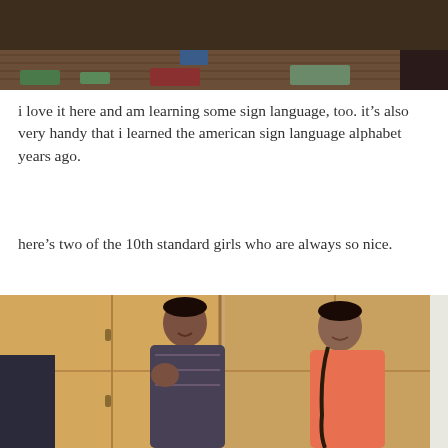[Figure (photo): Indoor scene showing a person in a blue garment near a table with metal bowls, brick floor visible, various items on the floor]
i love it here and am learning some sign language, too. it's also very handy that i learned the american sign language alphabet years ago.
here's two of the 10th standard girls who are always so nice.
[Figure (photo): Two young women sitting and smiling, one in a patterned top and one in an orange top, in front of wooden lockers or cabinets]